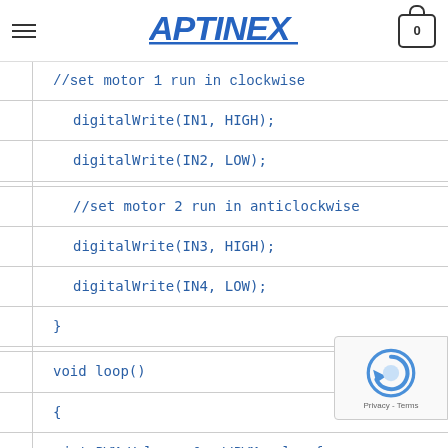APTINEX
//set motor 1 run in clockwise
    digitalWrite(IN1, HIGH);
    digitalWrite(IN2, LOW);

    //set motor 2 run in anticlockwise
    digitalWrite(IN3, HIGH);
    digitalWrite(IN4, LOW);
  }

void loop()
{
  int PWM_Value = 0; //PWM value for motor 1 and 2

  //Motor 1 and Motor 2 run with gradually increasing speed until Max
[Figure (logo): reCAPTCHA logo with Privacy - Terms text]